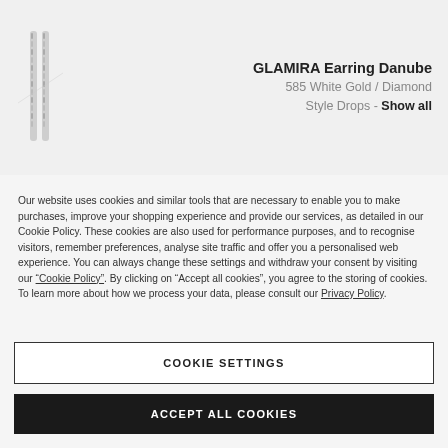[Figure (photo): Two slim diamond drop earrings shown side by side, white gold, vertical orientation]
GLAMIRA Earring Danube
585 White Gold / Diamond
Style Drops - Show all
Our website uses cookies and similar tools that are necessary to enable you to make purchases, improve your shopping experience and provide our services, as detailed in our Cookie Policy. These cookies are also used for performance purposes, and to recognise visitors, remember preferences, analyse site traffic and offer you a personalised web experience. You can always change these settings and withdraw your consent by visiting our “Cookie Policy”. By clicking on “Accept all cookies”, you agree to the storing of cookies. To learn more about how we process your data, please consult our Privacy Policy.
COOKIE SETTINGS
ACCEPT ALL COOKIES